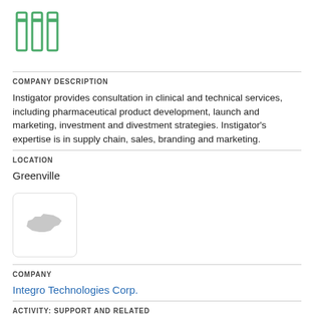[Figure (logo): Green outline logo with three pillar/column shapes]
COMPANY DESCRIPTION
Instigator provides consultation in clinical and technical services, including pharmaceutical product development, launch and marketing, investment and divestment strategies. Instigator's expertise is in supply chain, sales, branding and marketing.
LOCATION
Greenville
[Figure (logo): North Carolina state silhouette image placeholder in a rounded rectangle box]
COMPANY
Integro Technologies Corp.
ACTIVITY: SUPPORT AND RELATED